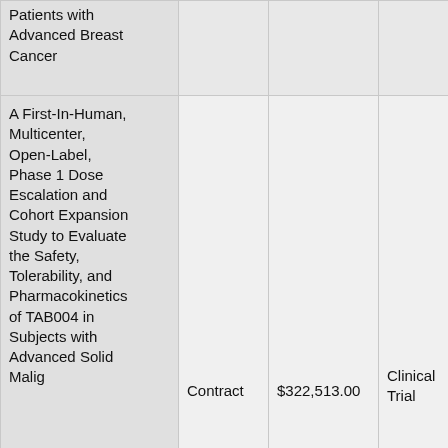| Study Title | Award Type | Amount | Category |
| --- | --- | --- | --- |
| Patients with Advanced Breast Cancer |  |  |  |
| A First-In-Human, Multicenter, Open-Label, Phase 1 Dose Escalation and Cohort Expansion Study to Evaluate the Safety, Tolerability, and Pharmacokinetics of TAB004 in Subjects with Advanced Solid Malig | Contract | $322,513.00 | Clinical Trial |
| A Gender and |  |  |  |